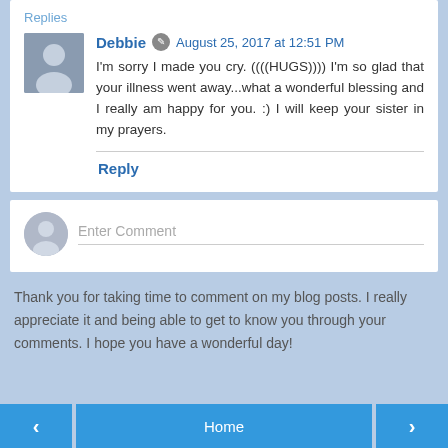Replies
Debbie  August 25, 2017 at 12:51 PM
I'm sorry I made you cry. ((((HUGS)))) I'm so glad that your illness went away...what a wonderful blessing and I really am happy for you. :) I will keep your sister in my prayers.
Reply
Enter Comment
Thank you for taking time to comment on my blog posts. I really appreciate it and being able to get to know you through your comments. I hope you have a wonderful day!
‹
Home
›